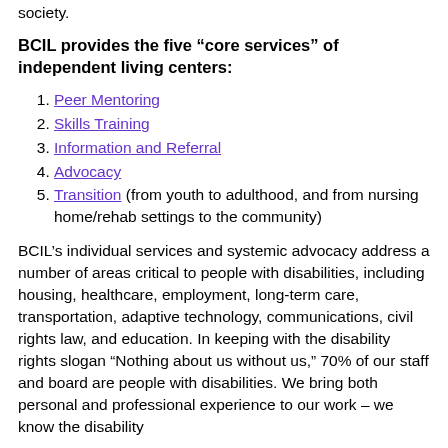society.
BCIL provides the five “core services” of independent living centers:
1. Peer Mentoring
2. Skills Training
3. Information and Referral
4. Advocacy
5. Transition (from youth to adulthood, and from nursing home/rehab settings to the community)
BCIL’s individual services and systemic advocacy address a number of areas critical to people with disabilities, including housing, healthcare, employment, long-term care, transportation, adaptive technology, communications, civil rights law, and education. In keeping with the disability rights slogan “Nothing about us without us,” 70% of our staff and board are people with disabilities. We bring both personal and professional experience to our work – we know the disability